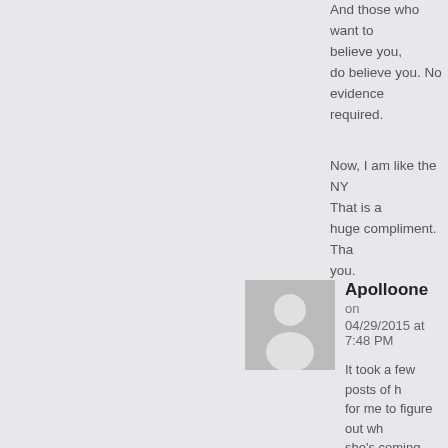And those who want to believe you, do believe you. No evidence required.

Now, I am like the NYT. That is a huge compliment. Thank you.
[Figure (illustration): Default user avatar placeholder: grey square with white silhouette of a person]
Apolloone on 04/29/2015 at 7:48 PM
It took a few posts of hers for me to figure out where she's coming from. She lives in a Marxist bubble, no doubt voted twice for the Muslim and will